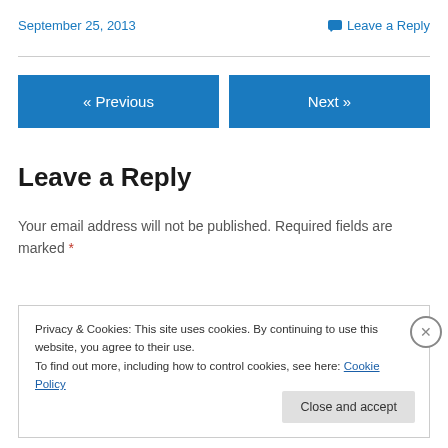September 25, 2013
Leave a Reply
« Previous
Next »
Leave a Reply
Your email address will not be published. Required fields are marked *
Privacy & Cookies: This site uses cookies. By continuing to use this website, you agree to their use.
To find out more, including how to control cookies, see here: Cookie Policy
Close and accept